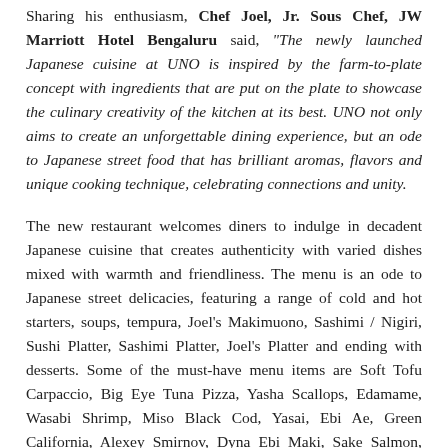Sharing his enthusiasm, Chef Joel, Jr. Sous Chef, JW Marriott Hotel Bengaluru said, "The newly launched Japanese cuisine at UNO is inspired by the farm-to-plate concept with ingredients that are put on the plate to showcase the culinary creativity of the kitchen at its best. UNO not only aims to create an unforgettable dining experience, but an ode to Japanese street food that has brilliant aromas, flavors and unique cooking technique, celebrating connections and unity.
The new restaurant welcomes diners to indulge in decadent Japanese cuisine that creates authenticity with varied dishes mixed with warmth and friendliness. The menu is an ode to Japanese street delicacies, featuring a range of cold and hot starters, soups, tempura, Joel's Makimuono, Sashimi / Nigiri, Sushi Platter, Sashimi Platter, Joel's Platter and ending with desserts. Some of the must-have menu items are Soft Tofu Carpaccio, Big Eye Tuna Pizza, Yasha Scallops, Edamame, Wasabi Shrimp, Miso Black Cod, Yasai, Ebi Ae, Green California, Alexey Smirnov, Dyna Ebi Maki, Sake Salmon, Hotate Scallop platter, tako, sushi and sashimi and desserts